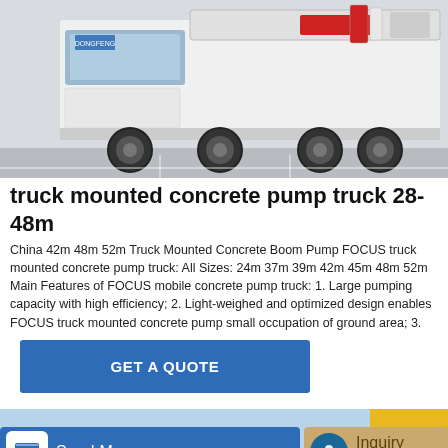[Figure (photo): White truck mounted concrete pump truck photographed from front-left angle in a parking area, showing large tires, cab, boom arm, and red/white hydraulic components]
truck mounted concrete pump truck 28-48m
China 42m 48m 52m Truck Mounted Concrete Boom Pump FOCUS truck mounted concrete pump truck: All Sizes: 24m 37m 39m 42m 45m 48m 52m Main Features of FOCUS mobile concrete pump truck: 1. Large pumping capacity with high efficiency; 2. Light-weighed and optimized design enables FOCUS truck mounted concrete pump small occupation of ground area; 3.
GET A QUOTE
[Figure (photo): Partial view of yellow concrete pump equipment against a light blue background]
Send Message
Inquiry Online